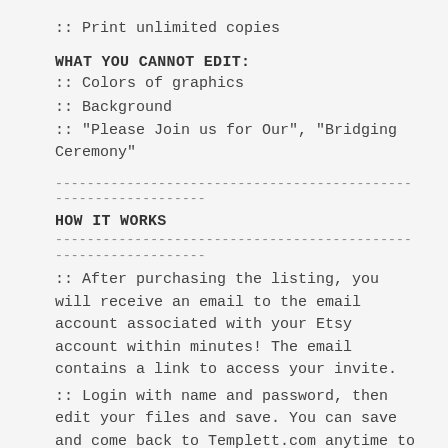:: Print unlimited copies
WHAT YOU CANNOT EDIT:
:: Colors of graphics
:: Background
:: "Please Join us for Our", "Bridging Ceremony"
----------------------------------------------------------------
HOW IT WORKS
----------------------------------------------------------------
:: After purchasing the listing, you will receive an email to the email account associated with your Etsy account within minutes! The email contains a link to access your invite.
:: Login with name and password, then edit your files and save. You can save and come back to Templett.com anytime to edit your files! The files are yours to keep forever and there is no expiration for your file!